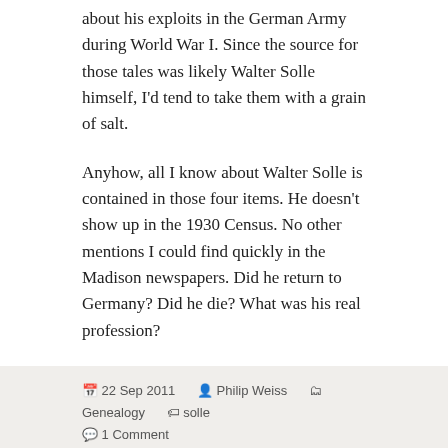about his exploits in the German Army during World War I. Since the source for those tales was likely Walter Solle himself, I'd tend to take them with a grain of salt.
Anyhow, all I know about Walter Solle is contained in those four items. He doesn't show up in the 1930 Census. No other mentions I could find quickly in the Madison newspapers. Did he return to Germany? Did he die? What was his real profession?
22 Sep 2011  Philip Weiss  Genealogy  solle  1 Comment
[Figure (photo): Handwritten document or ledger page showing names including Mary Platt, Ludwig Kurtz, Hannah Reed, and partial fourth name, with columns showing 'Ill.' and 'Germany', 'Wales' on the right side]